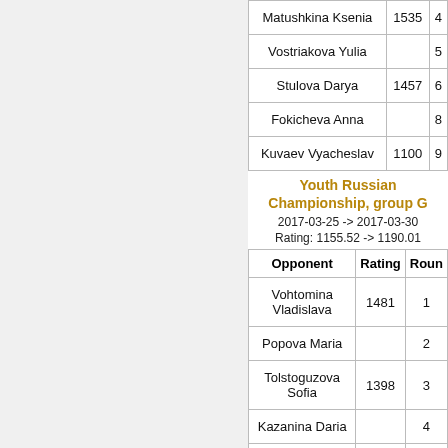| Opponent | Rating | Round |
| --- | --- | --- |
| Matushkina Ksenia | 1535 | 4 |
| Vostriakova Yulia |  | 5 |
| Stulova Darya | 1457 | 6 |
| Fokicheva Anna |  | 8 |
| Kuvaev Vyacheslav | 1100 | 9 |
Youth Russian Championship, group G
2017-03-25 -> 2017-03-30
Rating: 1155.52 -> 1190.01
| Opponent | Rating | Round |
| --- | --- | --- |
| Vohtomina Vladislava | 1481 | 1 |
| Popova Maria |  | 2 |
| Tolstoguzova Sofia | 1398 | 3 |
| Kazanina Daria |  | 4 |
| Glibina Anna |  | 5 |
| Stulova Veronika | 1186 | 6 |
| Sonina Marina | 1093 | 7 |